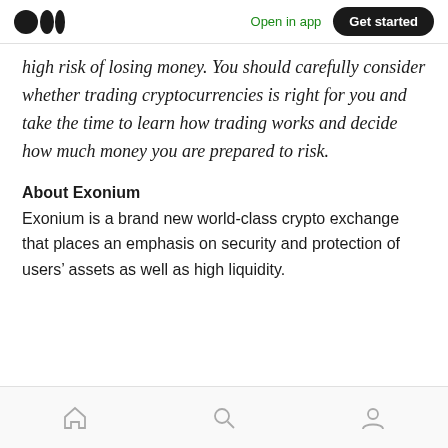Open in app | Get started
high risk of losing money. You should carefully consider whether trading cryptocurrencies is right for you and take the time to learn how trading works and decide how much money you are prepared to risk.
About Exonium
Exonium is a brand new world-class crypto exchange that places an emphasis on security and protection of users’ assets as well as high liquidity.
Home | Search | Profile